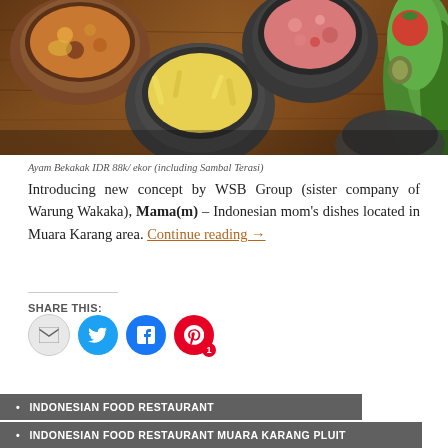[Figure (photo): Overhead view of Indonesian food in stone/clay bowls on a wooden table — multiple dishes including sambal, vegetable dishes, and garnishes with lettuce.]
Ayam Bekakak IDR 88k/ ekor (including Sambal Terasi)
Introducing new concept by WSB Group (sister company of Warung Wakaka), Mama(m) – Indonesian mom's dishes located in Muara Karang area. Continue reading →
SHARE THIS:
INDONESIAN FOOD RESTAURANT
INDONESIAN FOOD RESTAURANT MUARA KARANG PLUIT